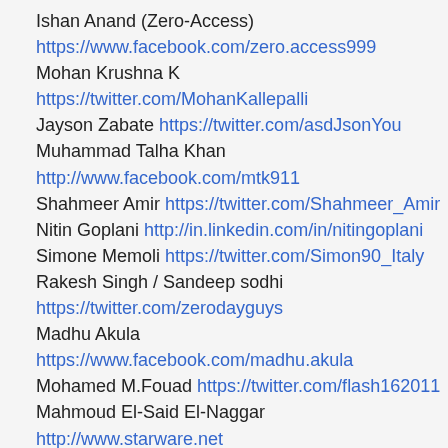Ishan Anand (Zero-Access) https://www.facebook.com/zero.access999
Mohan Krushna K https://twitter.com/MohanKallepalli
Jayson Zabate https://twitter.com/asdJsonYou
Muhammad Talha Khan http://www.facebook.com/mtk911
Shahmeer Amir https://twitter.com/Shahmeer_Amir
Nitin Goplani http://in.linkedin.com/in/nitingoplani
Simone Memoli https://twitter.com/Simon90_Italy
Rakesh Singh / Sandeep sodhi https://twitter.com/zerodayguys
Madhu Akula https://www.facebook.com/madhu.akula
Mohamed M.Fouad https://twitter.com/flash162011
Mahmoud El-Said El-Naggar http://www.starware.net
Arvind Singh Shekhawat https://twitter.com/EhArvindSingh